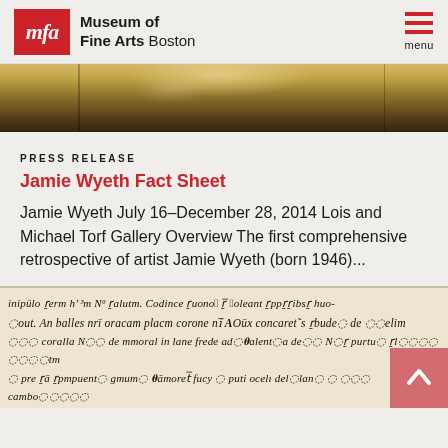Museum of Fine Arts Boston
[Figure (photo): Close-up of a painting showing curly blonde/golden hair and dark background — cropped top portion of a portrait]
PRESS RELEASE
Jamie Wyeth Fact Sheet
Jamie Wyeth July 16–December 28, 2014 Lois and Michael Torf Gallery Overview The first comprehensive retrospective of artist Jamie Wyeth (born 1946)...
[Figure (photo): Close-up of medieval manuscript with handwritten Latin text in gothic/blackletter script on aged parchment]